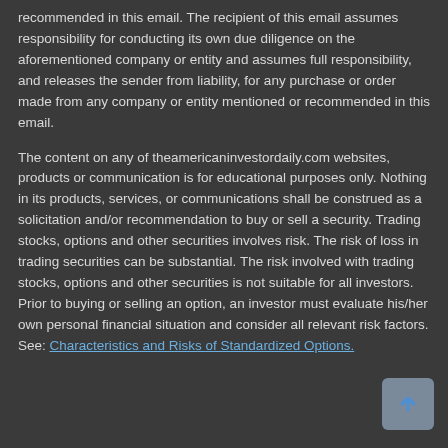recommended in this email. The recipient of this email assumes responsibility for conducting its own due diligence on the aforementioned company or entity and assumes full responsibility, and releases the sender from liability, for any purchase or order made from any company or entity mentioned or recommended in this email.
The content on any of theamericaninvestordaily.com websites, products or communication is for educational purposes only. Nothing in its products, services, or communications shall be construed as a solicitation and/or recommendation to buy or sell a security. Trading stocks, options and other securities involves risk. The risk of loss in trading securities can be substantial. The risk involved with trading stocks, options and other securities is not suitable for all investors. Prior to buying or selling an option, an investor must evaluate his/her own personal financial situation and consider all relevant risk factors. See: Characteristics and Risks of Standardized Options.